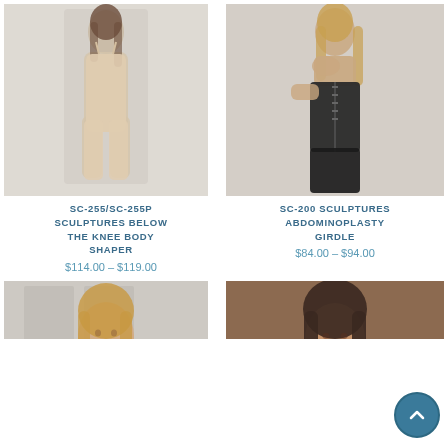[Figure (photo): Woman wearing nude/beige full-body shaper with below-the-knee length, standing pose against light grey background]
[Figure (photo): Woman wearing black strapless abdominoplasty girdle/corset, looking down, against light grey background]
SC-255/SC-255P SCULPTURES BELOW THE KNEE BODY SHAPER
$114.00 – $119.00
SC-200 SCULPTURES ABDOMINOPLASTY GIRDLE
$84.00 – $94.00
[Figure (photo): Woman with blonde hair smiling, partial view, grey paneled door background]
[Figure (photo): Woman with dark hair, brown background, partial view]